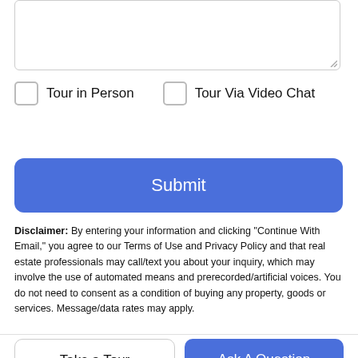Tour in Person
Tour Via Video Chat
Submit
Disclaimer: By entering your information and clicking "Continue With Email," you agree to our Terms of Use and Privacy Policy and that real estate professionals may call/text you about your inquiry, which may involve the use of automated means and prerecorded/artificial voices. You do not need to consent as a condition of buying any property, goods or services. Message/data rates may apply.
Take a Tour
Ask A Question